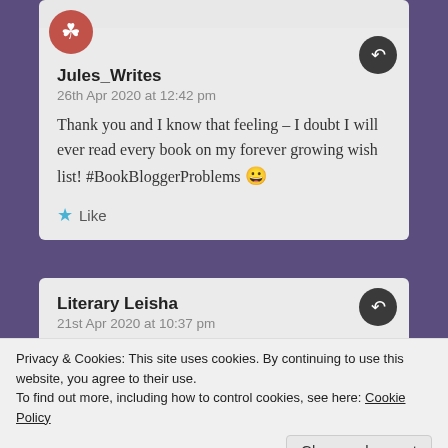Jules_Writes
26th Apr 2020 at 12:42 pm
Thank you and I know that feeling – I doubt I will ever read every book on my forever growing wish list! #BookBloggerProblems 😀
★ Like
Literary Leisha
21st Apr 2020 at 10:37 pm
★ Liked by 1 person
Privacy & Cookies: This site uses cookies. By continuing to use this website, you agree to their use.
To find out more, including how to control cookies, see here: Cookie Policy
Close and accept